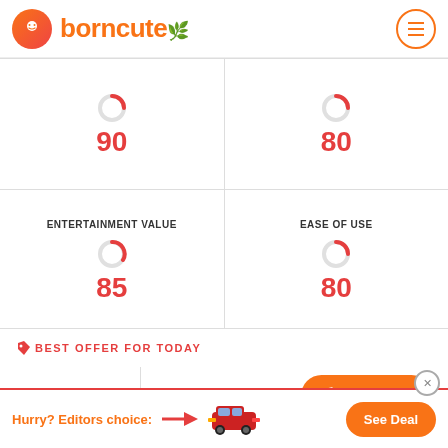[Figure (logo): BornCute website logo with orange gradient circle icon and orange text 'borncute' with leaf]
| [spinner] 90 | [spinner] 80 |
| ENTERTAINMENT VALUE
[spinner] 85 | EASE OF USE
[spinner] 80 |
BEST OFFER FOR TODAY
[Figure (logo): Amazon logo with smile arrow]
See Deal
Hurry? Editors choice:
See Deal